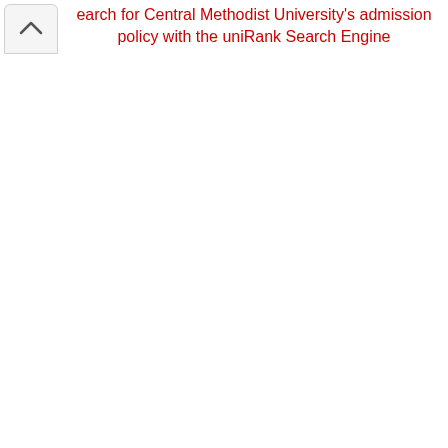Search for Central Methodist University's admission policy with the uniRank Search Engine